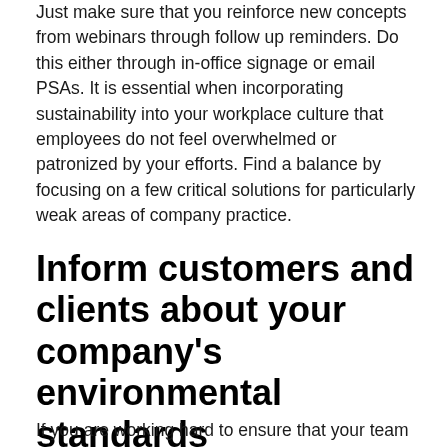Just make sure that you reinforce new concepts from webinars through follow up reminders. Do this either through in-office signage or email PSAs. It is essential when incorporating sustainability into your workplace culture that employees do not feel overwhelmed or patronized by your efforts. Find a balance by focusing on a few critical solutions for particularly weak areas of company practice.
Inform customers and clients about your company's environmental standards
If you are working hard to ensure that your team is